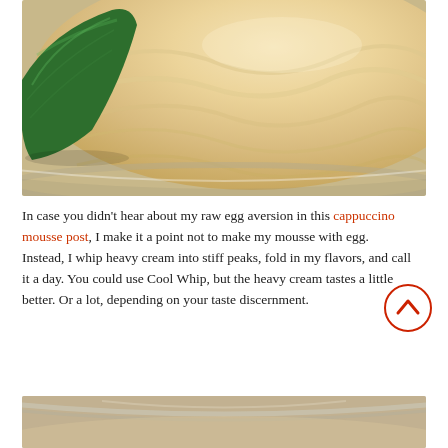[Figure (photo): Close-up photo of a light cream-colored mousse in a glass bowl, with a green lime wedge on the left side, viewed from above at slight angle.]
In case you didn't hear about my raw egg aversion in this cappuccino mousse post, I make it a point not to make my mousse with egg. Instead, I whip heavy cream into stiff peaks, fold in my flavors, and call it a day. You could use Cool Whip, but the heavy cream tastes a little better. Or a lot, depending on your taste discernment.
[Figure (photo): Bottom portion of a glass bowl partially visible, showing a blurred beige/cream colored interior, cropped at bottom of page.]